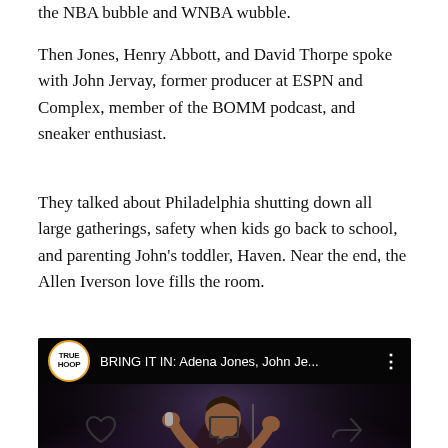the NBA bubble and WNBA wubble.
Then Jones, Henry Abbott, and David Thorpe spoke with John Jervay, former producer at ESPN and Complex, member of the BOMM podcast, and sneaker enthusiast.
They talked about Philadelphia shutting down all large gatherings, safety when kids go back to school, and parenting John’s toddler, Haven. Near the end, the Allen Iverson love fills the room.
[Figure (screenshot): YouTube video thumbnail showing TrueHoop logo and title 'BRING IT IN: Adena Jones, John Je...' with a person gesturing at a microphone on a dark stage, and a YouTube play button overlay.]
[Figure (other): Bottom social action icons: heart (like), comment bubble, and share arrow.]